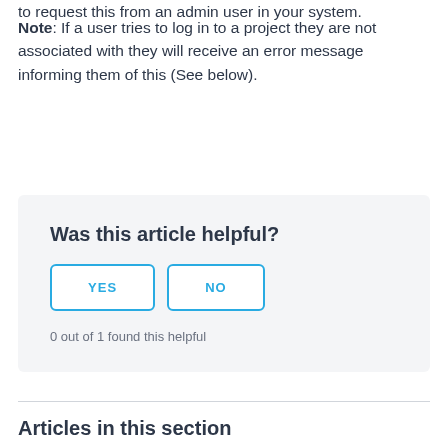to request this from an admin user in your system.
Note: If a user tries to log in to a project they are not associated with they will receive an error message informing them of this (See below).
[Figure (other): Was this article helpful? feedback widget with YES and NO buttons and text '0 out of 1 found this helpful']
Articles in this section